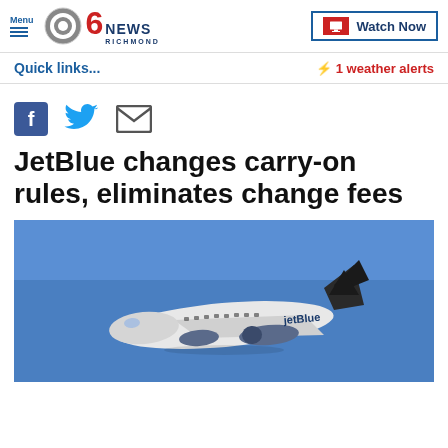Menu | CBS 6 NEWS RICHMOND | Watch Now
Quick links... | ⚡ 1 weather alerts
[Figure (other): Social media share icons: Facebook (blue square with f), Twitter (blue bird), Email (grey envelope)]
JetBlue changes carry-on rules, eliminates change fees
[Figure (photo): A JetBlue airplane (white with blue tail and engines) photographed from below against a clear blue sky, in flight.]